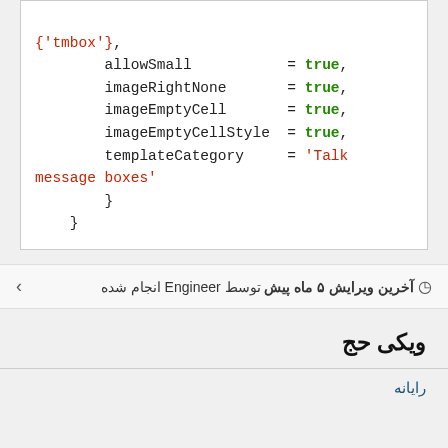{'tmbox'},
        allowSmall           = true,
        imageRightNone       = true,
        imageEmptyCell       = true,
        imageEmptyCellStyle  = true,
        templateCategory     = 'Talk message boxes'
    }
}
آخرین ویرایش ۵ ماه پیش توسط Engineer انجام شده
ویکی حج
رایانه